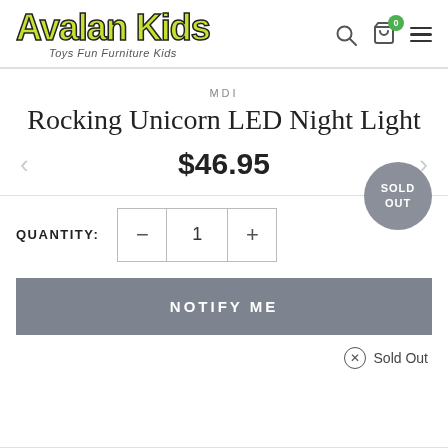Avalan Kids — Toys Fun Furniture Kids
MDI
Rocking Unicorn LED Night Light
$46.95
SOLD OUT
QUANTITY: 1
NOTIFY ME
Sold Out